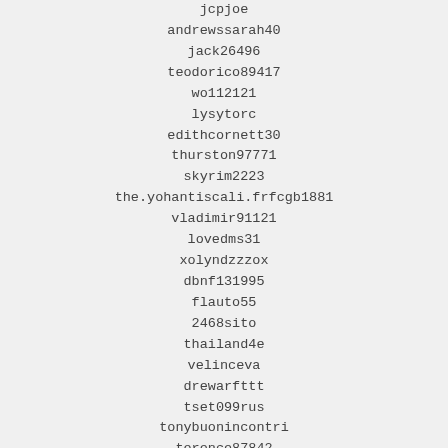jcpjoe
andrewssarah40
jack26496
teodorico89417
wo112121
lysytorc
edithcornett30
thurston97771
skyrim2223
the.yohantiscali.frfcgb1881
vladimir91121
lovedms31
xolyndzzzox
dbnf131995
flauto55
2468sito
thailand4e
velinceva
drewarfttt
tset099rus
tonybuonincontri
terence87842
kozhakhanchik_969
maudecorrivaux
thepoledancingbettys